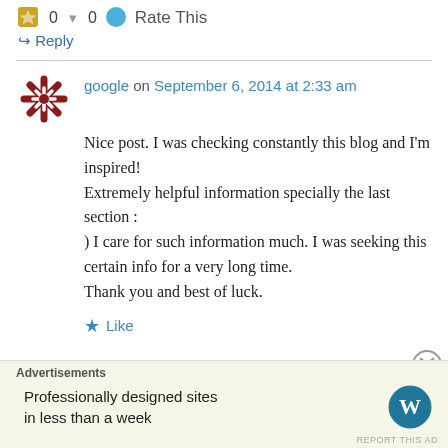0  0  Rate This
↳ Reply
google on September 6, 2014 at 2:33 am
Nice post. I was checking constantly this blog and I'm inspired! Extremely helpful information specially the last section : ) I care for such information much. I was seeking this certain info for a very long time. Thank you and best of luck.
★ Like
Advertisements
Professionally designed sites in less than a week